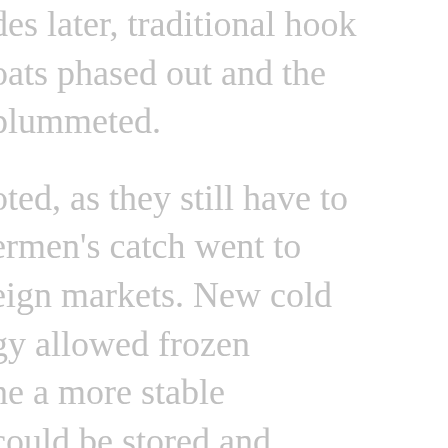des later, traditional hook oats phased out and the plummeted. oted, as they still have to ermen's catch went to eign markets. New cold gy allowed frozen ne a more stable could be stored and ger times and distance. cle from 1937 talked f the season at Parker's s called at the time. The April to August and